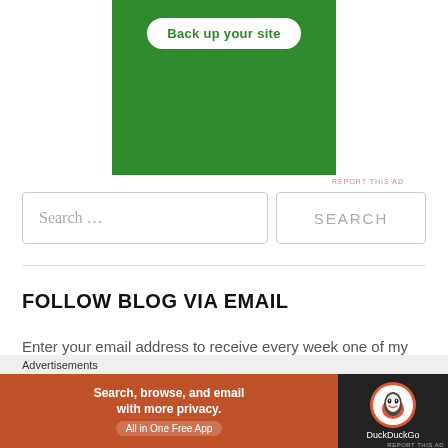[Figure (screenshot): Green advertisement banner with white rounded-rectangle button reading 'Back up your site']
REPORT THIS AD
Search …
SEARCH
FOLLOW BLOG VIA EMAIL
Enter your email address to receive every week one of my new authentic Italian recipe by email for free!
[Figure (screenshot): DuckDuckGo advertisement banner: orange left side with 'Search, browse, and email with more privacy. All in One Free App' and dark right side with DuckDuckGo duck logo and brand name.]
Advertisements
REPORT THIS AD